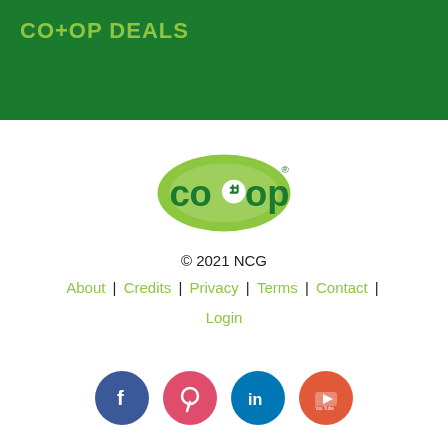CO+OP DEALS
[Figure (logo): Co+op logo: green oval with 'co+op' text in dark green and light green, registered trademark symbol]
© 2021 NCG
About | Credits | Privacy | Terms | Contact | Login
[Figure (illustration): Four social media icons: Facebook (blue), Pinterest (red/pink), LinkedIn (teal), YouTube (orange-red)]